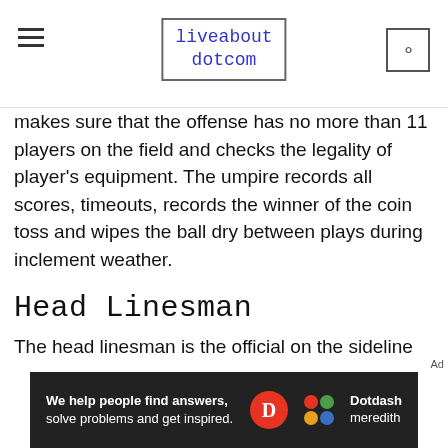liveabout dotcom
makes sure that the offense has no more than 11 players on the field and checks the legality of player's equipment. The umpire records all scores, timeouts, records the winner of the coin toss and wipes the ball dry between plays during inclement weather.
Head Linesman
The head linesman is the official on the sideline that straddles the line of scrimmage looking for scrimmage violations like offsides or encroachment and penalties like illegal motion, illegal shifts, illea
[Figure (other): Dotdash Meredith advertisement banner: 'We help people find answers, solve problems and get inspired.' with D logo and colorful dots icon]